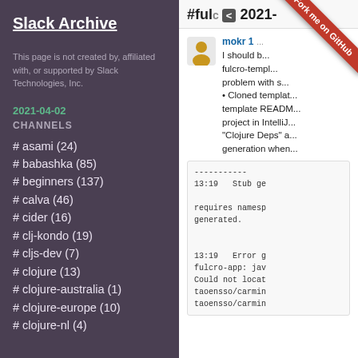Slack Archive
This page is not created by, affiliated with, or supported by Slack Technologies, Inc.
2021-04-02
CHANNELS
# asami (24)
# babashka (85)
# beginners (137)
# calva (46)
# cider (16)
# clj-kondo (19)
# cljs-dev (7)
# clojure (13)
# clojure-australia (1)
# clojure-europe (10)
# clojure-nl (4)
#fulcro < 2021-
mokr 1... I should b... fulcro-templ... problem with s... • Cloned templat... template READM... project in IntelliJ... "Clojure Deps" a... generation when...
[Figure (other): User avatar icon (person silhouette) in gold/yellow color]
----------- 
13:19   Stub ge

requires namesp
generated.


13:19   Error g
fulcro-app: jav
Could not locat
taoensso/carmin
taoensso/carmin